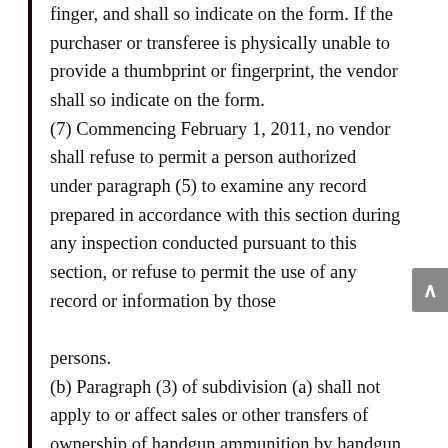finger, and shall so indicate on the form. If the purchaser or transferee is physically unable to provide a thumbprint or fingerprint, the vendor shall so indicate on the form. (7) Commencing February 1, 2011, no vendor shall refuse to permit a person authorized under paragraph (5) to examine any record prepared in accordance with this section during any inspection conducted pursuant to this section, or refuse to permit the use of any record or information by those persons. (b) Paragraph (3) of subdivision (a) shall not apply to or affect sales or other transfers of ownership of handgun ammunition by handgun